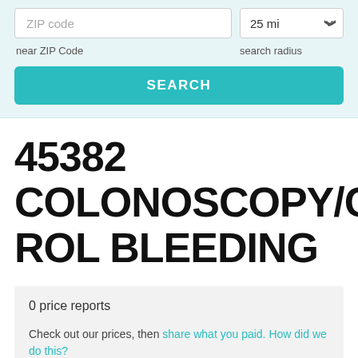[Figure (screenshot): Search form with ZIP code input field and 25 mi radius dropdown selector, with near ZIP Code and search radius labels, and a teal SEARCH button]
45382 COLONOSCOPY/CONTROL BLEEDING
0 price reports
Check out our prices, then share what you paid. How did we do this?